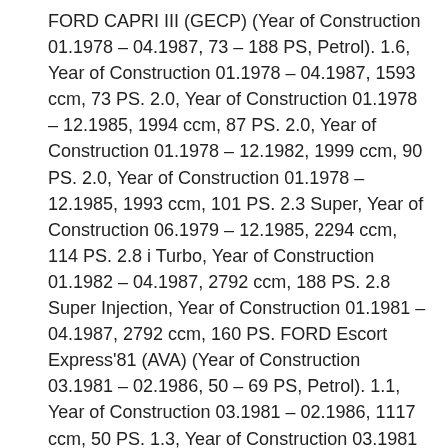FORD CAPRI III (GECP) (Year of Construction 01.1978 – 04.1987, 73 – 188 PS, Petrol). 1.6, Year of Construction 01.1978 – 04.1987, 1593 ccm, 73 PS. 2.0, Year of Construction 01.1978 – 12.1985, 1994 ccm, 87 PS. 2.0, Year of Construction 01.1978 – 12.1982, 1999 ccm, 90 PS. 2.0, Year of Construction 01.1978 – 12.1985, 1993 ccm, 101 PS. 2.3 Super, Year of Construction 06.1979 – 12.1985, 2294 ccm, 114 PS. 2.8 i Turbo, Year of Construction 01.1982 – 04.1987, 2792 ccm, 188 PS. 2.8 Super Injection, Year of Construction 01.1981 – 04.1987, 2792 ccm, 160 PS. FORD Escort Express'81 (AVA) (Year of Construction 03.1981 – 02.1986, 50 – 69 PS, Petrol). 1.1, Year of Construction 03.1981 – 02.1986, 1117 ccm, 50 PS. 1.3, Year of Construction 03.1981 – 02.1986, 1296 ccm, 69 PS. FORD Escort Express'86 (ALF) (Year of Construction 02.1986 – 07.1990, 50 – 81 PS, Petrol). 1.1, Year of Construction 05.1986 – 07.1990, 1117 ccm, 50 PS. 1.3, Year of Construction 02.1986 – 07.1990,